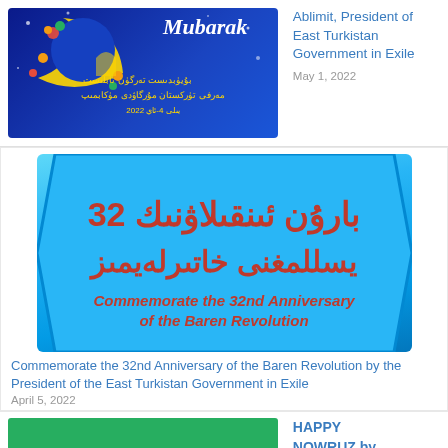[Figure (illustration): Eid Mubarak greeting card with blue background, crescent moon with decorative flowers, and Arabic/Uyghur text with 'Mubarak' in English italics]
Ablimit, President of East Turkistan Government in Exile
May 1, 2022
[Figure (illustration): Blue hexagonal banner with red Arabic/Uyghur text and English text reading 'Commemorate the 32nd Anniversary of the Baren Revolution']
Commemorate the 32nd Anniversary of the Baren Revolution by the President of the East Turkistan Government in Exile
April 5, 2022
[Figure (illustration): Green background image, partially visible at bottom of page]
HAPPY NOWRUZ by